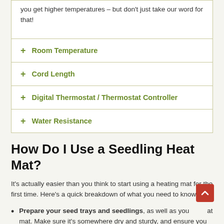you get higher temperatures – but don't just take our word for that!
Room Temperature
Cord Length
Digital Thermostat / Thermostat Controller
Water Resistance
How Do I Use a Seedling Heat Mat?
It's actually easier than you think to start using a heating mat for the first time. Here's a quick breakdown of what you need to know:
Prepare your seed trays and seedlings, as well as your mat. Make sure it's somewhere dry and sturdy, and ensure you know the best heat and light conditions for your plants